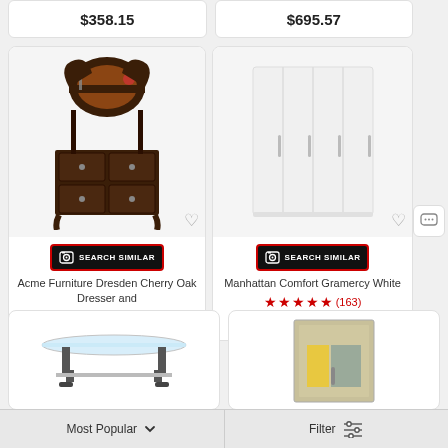$358.15
$695.57
[Figure (screenshot): Acme Furniture Dresden Cherry Oak Dresser and mirror product image with ornate dark wood carving]
SEARCH SIMILAR
Acme Furniture Dresden Cherry Oak Dresser and
In Stock
$1877.74
[Figure (screenshot): Manhattan Comfort Gramercy White wardrobe cabinet product image]
SEARCH SIMILAR
Manhattan Comfort Gramercy White
★★★★★ (163)
In Stock
$837.50
[Figure (screenshot): Glass top coffee table partial image]
[Figure (screenshot): Cabinet with yellow and gray panels partial image]
Most Popular
Filter